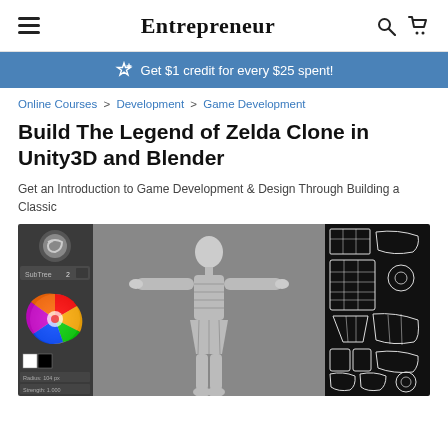Entrepreneur
Get $1 credit for every $25 spent!
Online Courses > Development > Game Development
Build The Legend of Zelda Clone in Unity3D and Blender
Get an Introduction to Game Development & Design Through Building a Classic
[Figure (screenshot): Screenshot of a 3D character model in Blender showing a humanoid figure in T-pose with armor details, alongside a color wheel tool panel on the left and UV unwrap layout on the right against a black background.]